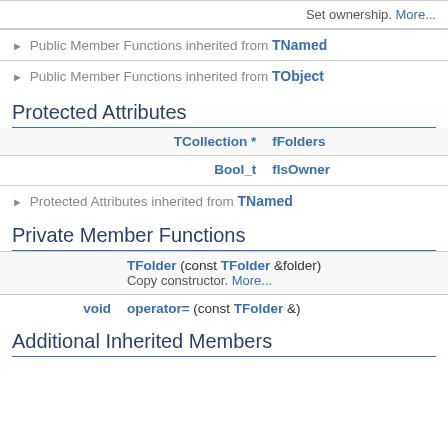Set ownership. More...
▶ Public Member Functions inherited from TNamed
▶ Public Member Functions inherited from TObject
Protected Attributes
| Type | Name |
| --- | --- |
| TCollection * | fFolders |
| Bool_t | fIsOwner |
▶ Protected Attributes inherited from TNamed
Private Member Functions
| Return | Signature |
| --- | --- |
|  | TFolder (const TFolder &folder)
Copy constructor. More... |
| void | operator= (const TFolder &) |
Additional Inherited Members